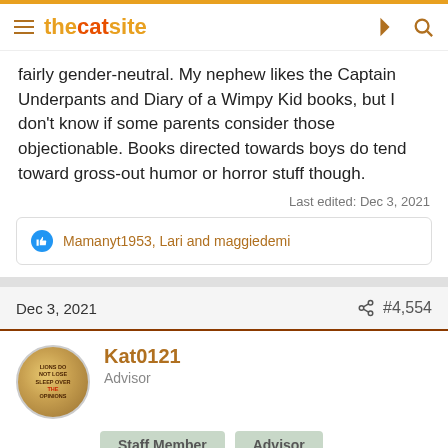thecatsite
fairly gender-neutral. My nephew likes the Captain Underpants and Diary of a Wimpy Kid books, but I don't know if some parents consider those objectionable. Books directed towards boys do tend toward gross-out humor or horror stuff though.
Last edited: Dec 3, 2021
Mamanyt1953, Lari and maggiedemi
Dec 3, 2021
#4,554
Kat0121
Advisor
Staff Member
Advisor